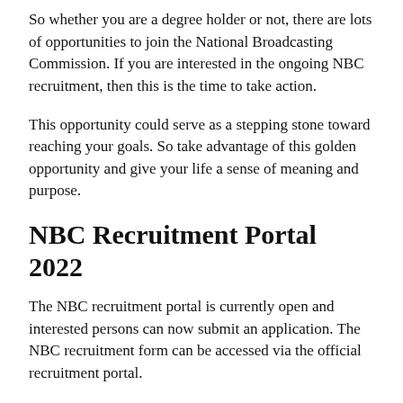So whether you are a degree holder or not, there are lots of opportunities to join the National Broadcasting Commission. If you are interested in the ongoing NBC recruitment, then this is the time to take action.
This opportunity could serve as a stepping stone toward reaching your goals. So take advantage of this golden opportunity and give your life a sense of meaning and purpose.
NBC Recruitment Portal 2022
The NBC recruitment portal is currently open and interested persons can now submit an application. The NBC recruitment form can be accessed via the official recruitment portal.
Job vacancies at the National Broadcasting Commission are for degree and non-degree holders. All you need to apply is an active email account and your phone number alongside relevant qualifications.
But before submitting an application, there are certain